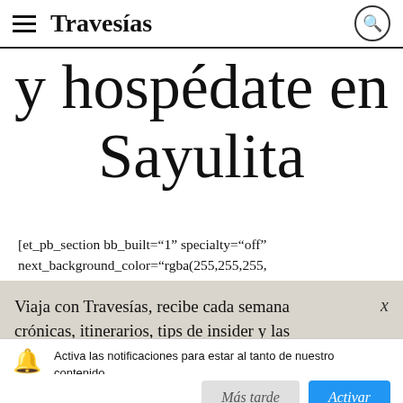Travesías
y hospédate en Sayulita
[et_pb_section bb_built="1" specialty="off" next_background_color="rgba(255,255,255, 0)" builder_version="3.12.2"
Viaja con Travesías, recibe cada semana crónicas, itinerarios, tips de insider y las guías más completas
Activa las notificaciones para estar al tanto de nuestro contenido.
Más tarde   Activar